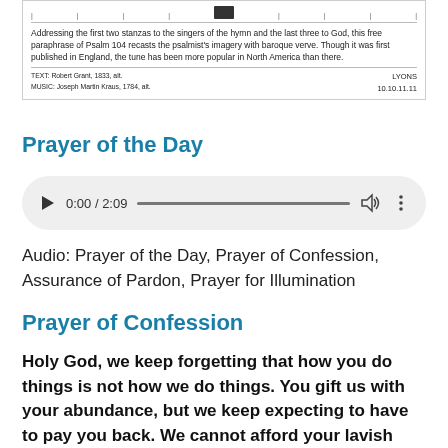[Figure (other): Top portion of a hymn score page showing tick marks, a navigation bar, a small icon, descriptive text about Psalm 104 paraphrase, and attribution footer with TEXT: Robert Grant, 1833, alt. / MUSIC: Joseph Martin Kraus, 1784, alt. and LYONS / 10.10.11.11]
Prayer of the Day
[Figure (screenshot): Audio player widget showing play button, time 0:00 / 2:09, progress bar, volume icon, and menu dots on a light gray rounded rectangle background]
Audio: Prayer of the Day, Prayer of Confession, Assurance of Pardon, Prayer for Illumination
Prayer of Confession
Holy God, we keep forgetting that how you do things is not how we do things. You gift us with your abundance, but we keep expecting to have to pay you back. We cannot afford your lavish gifts. Forgive us for presuming that we had to. Open our ears to hear your ever-speaking voice, inviting us back into